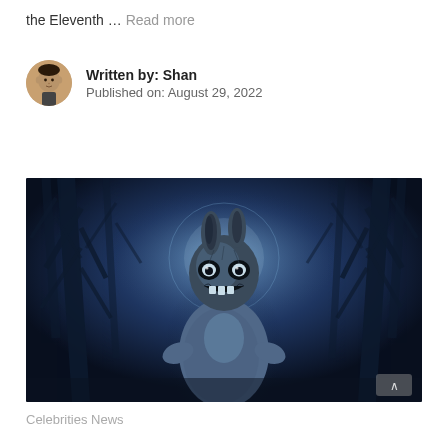the Eleventh … Read more
Written by: Shan
Published on: August 29, 2022
[Figure (illustration): Dark atmospheric illustration of a menacing figure wearing a creepy rabbit mask standing in a moonlit forest with bare trees in the background, done in blue-grey tones]
Celebrities News